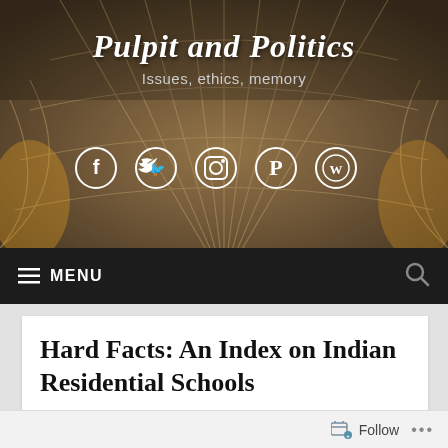Pulpit and Politics
Issues, ethics, memory
[Figure (screenshot): Social media icons: Facebook, Twitter, Instagram, Pinterest, WordPress — white circular icons on gothic arch cathedral background]
MENU
Hard Facts: An Index on Indian Residential Schools
Follow